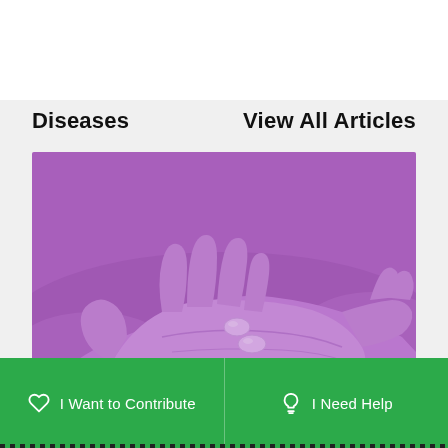Diseases
View All Articles
[Figure (photo): A hand with an open palm holding two small round white pills, tinted purple/violet]
I Want to Contribute
I Need Help